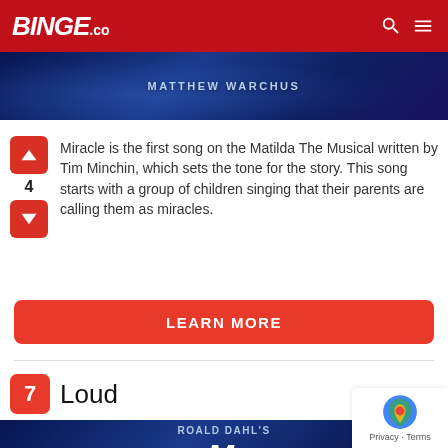BINGE.co
[Figure (screenshot): Blue banner with text MATTHEW WARCHUS]
Miracle is the first song on the Matilda The Musical written by Tim Minchin, which sets the tone for the story. This song starts with a group of children singing that their parents are calling them as miracles.
LEARN MORE
7 Loud
[Figure (screenshot): Blue movie poster banner with text Roald Dahl's Matilda The Musical]